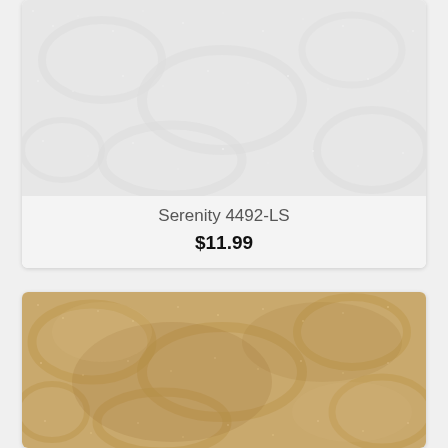[Figure (photo): Light gray/white fabric with densely packed swirling mosaic dot pattern — Serenity 4492-LS]
Serenity 4492-LS
$11.99
[Figure (photo): Tan/beige fabric with swirling mosaic dot pattern — similar Serenity fabric in warm tan colorway]